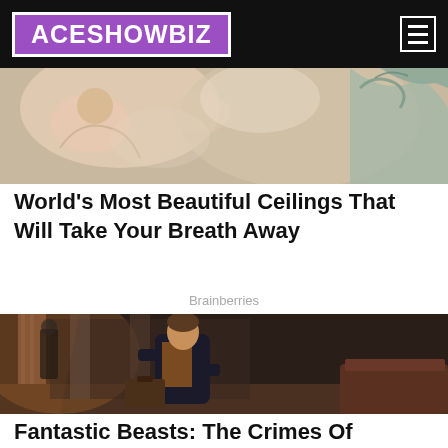ACESHOWBIZ
[Figure (photo): Partial view of a ceiling painting showing classical art with figures, soft pinks and creams]
World's Most Beautiful Ceilings That Will Take Your Breath Away
Brainberries
[Figure (photo): Movie still from Fantastic Beasts: The Crimes of Grindelwald showing a young man in period costume carrying a suitcase in an ornate interior hall]
Fantastic Beasts: The Crimes Of Grindelwald That Make No Sense